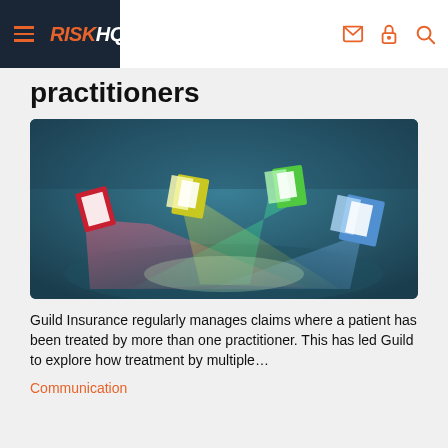RISK HQ
practitioners
[Figure (photo): 3D render of colorful open book/door-like objects (red, yellow, green, blue) projecting colored light beams that cross on a dark teal floor — representing multiple practitioners]
Guild Insurance regularly manages claims where a patient has been treated by more than one practitioner. This has led Guild to explore how treatment by multiple…
Communication